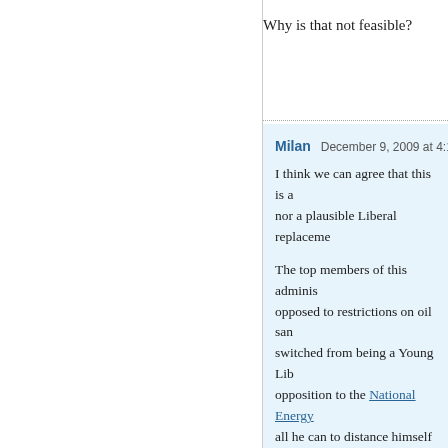Why is that not feasible?
Milan   December 9, 2009 at 4:12 p
I think we can agree that this is an nor a plausible Liberal replaceme
The top members of this adminis opposed to restrictions on oil san switched from being a Young Lib opposition to the National Energy all he can to distance himself fro sands. Even The Globe and Mail are good for Canada.
There is also the matter of public putting a price on carbon, it seem supporting the wholesale govern